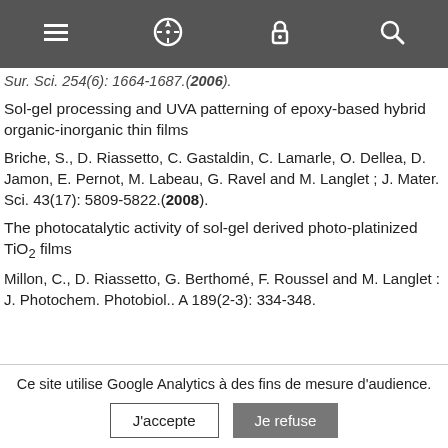[Navigation bar with menu, compass, lock, and search icons]
Sur. Sci. 254(6): 1664-1687.(2006).
Sol-gel processing and UVA patterning of epoxy-based hybrid organic-inorganic thin films
Briche, S., D. Riassetto, C. Gastaldin, C. Lamarle, O. Dellea, D. Jamon, E. Pernot, M. Labeau, G. Ravel and M. Langlet ; J. Mater. Sci. 43(17): 5809-5822.(2008).
The photocatalytic activity of sol-gel derived photo-platinized TiO2 films
Millon, C., D. Riassetto, G. Berthomé, F. Roussel and M. Langlet : J. Photochem. Photobiol.. A 189(2-3): 334-348.
Ce site utilise Google Analytics à des fins de mesure d'audience.